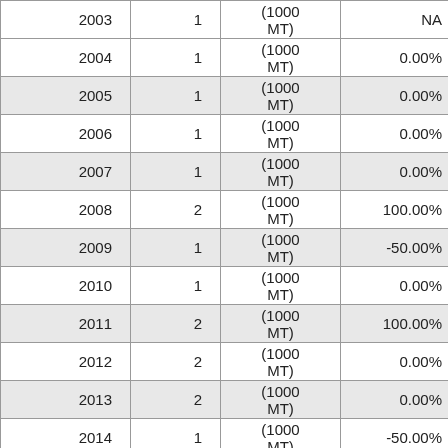| Year | Value | Unit | % Change |
| --- | --- | --- | --- |
| 2003 | 1 | (1000 MT) | NA |
| 2004 | 1 | (1000 MT) | 0.00% |
| 2005 | 1 | (1000 MT) | 0.00% |
| 2006 | 1 | (1000 MT) | 0.00% |
| 2007 | 1 | (1000 MT) | 0.00% |
| 2008 | 2 | (1000 MT) | 100.00% |
| 2009 | 1 | (1000 MT) | -50.00% |
| 2010 | 1 | (1000 MT) | 0.00% |
| 2011 | 2 | (1000 MT) | 100.00% |
| 2012 | 2 | (1000 MT) | 0.00% |
| 2013 | 2 | (1000 MT) | 0.00% |
| 2014 | 1 | (1000 MT) | -50.00% |